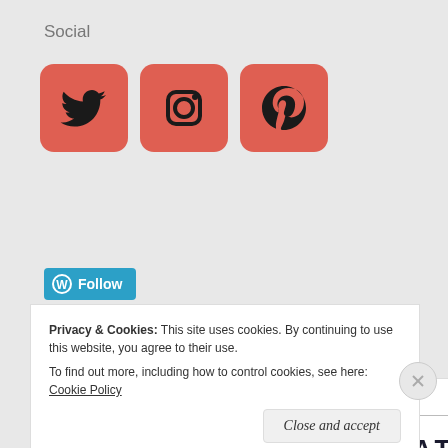Social
[Figure (illustration): Three social media icon buttons with salmon/red rounded square backgrounds: Twitter bird icon, Instagram camera icon, Pinterest P icon]
[Figure (illustration): WordPress Follow button - blue rounded rectangle with WordPress logo and 'Follow' text in white]
Advertisements
[Figure (logo): Automattic logo text in uppercase bold letters with a circular icon replacing the O]
Privacy & Cookies: This site uses cookies. By continuing to use this website, you agree to their use.
To find out more, including how to control cookies, see here: Cookie Policy
Close and accept